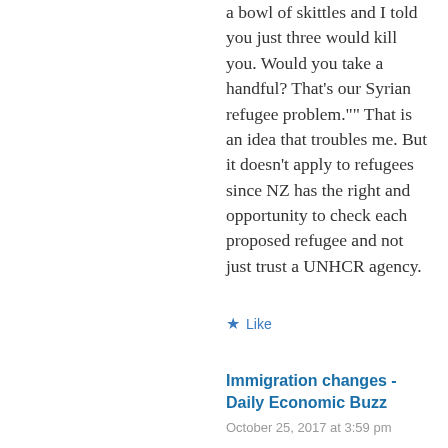a bowl of skittles and I told you just three would kill you. Would you take a handful? That’s our Syrian refugee problem.”” That is an idea that troubles me. But it doesn’t apply to refugees since NZ has the right and opportunity to check each proposed refugee and not just trust a UNHCR agency.
★ Like
Immigration changes - Daily Economic Buzz
October 25, 2017 at 3:59 pm